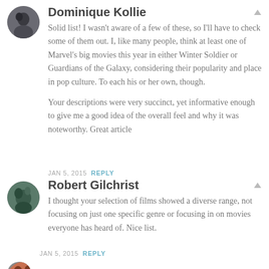[Figure (illustration): Avatar photo of Dominique Kollie, dark circular profile image]
Dominique Kollie
Solid list! I wasn't aware of a few of these, so I'll have to check some of them out. I, like many people, think at least one of Marvel's big movies this year in either Winter Soldier or Guardians of the Galaxy, considering their popularity and place in pop culture. To each his or her own, though.
Your descriptions were very succinct, yet informative enough to give me a good idea of the overall feel and why it was noteworthy. Great article
JAN 5, 2015 REPLY
[Figure (illustration): Avatar photo of Robert Gilchrist, fantasy-style circular profile image]
Robert Gilchrist
I thought your selection of films showed a diverse range, not focusing on just one specific genre or focusing in on movies everyone has heard of. Nice list.
JAN 5, 2015 REPLY
[Figure (illustration): Avatar photo, small circular profile image at bottom]